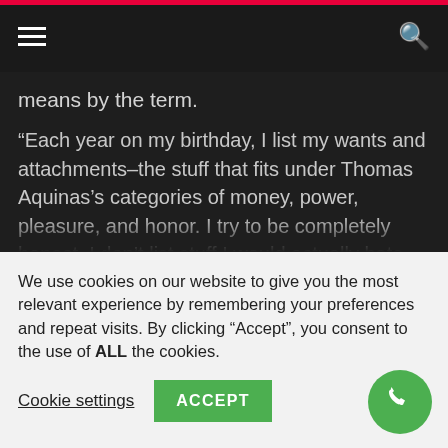Navigation bar with hamburger menu and search icon
means by the term.
“Each year on my birthday, I list my wants and attachments–the stuff that fits under Thomas Aquinas’s categories of money, power, pleasure, and honor. I try to be completely honest. I don’t list stuff I would actually hate and never choose, like a sailboat or a vacation house. Rather, I go to my weaknesses, most of which–I’m embarrassed to admit, involve the admiration of others for my
We use cookies on our website to give you the most relevant experience by remembering your preferences and repeat visits. By clicking “Accept”, you consent to the use of ALL the cookies.
Cookie settings
ACCEPT